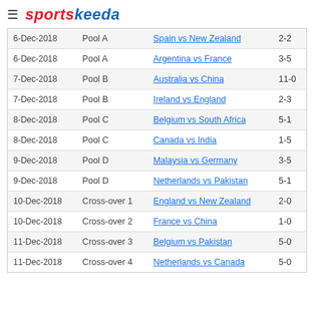≡ sportskeeda
| Date | Pool | Match | Score |
| --- | --- | --- | --- |
| 6-Dec-2018 | Pool A | Spain vs New Zealand | 2-2 |
| 6-Dec-2018 | Pool A | Argentina vs France | 3-5 |
| 7-Dec-2018 | Pool B | Australia vs China | 11-0 |
| 7-Dec-2018 | Pool B | Ireland vs England | 2-3 |
| 8-Dec-2018 | Pool C | Belgium vs South Africa | 5-1 |
| 8-Dec-2018 | Pool C | Canada vs India | 1-5 |
| 9-Dec-2018 | Pool D | Malaysia vs Germany | 3-5 |
| 9-Dec-2018 | Pool D | Netherlands vs Pakistan | 5-1 |
| 10-Dec-2018 | Cross-over 1 | England vs New Zealand | 2-0 |
| 10-Dec-2018 | Cross-over 2 | France vs China | 1-0 |
| 11-Dec-2018 | Cross-over 3 | Belgium vs Pakistan | 5-0 |
| 11-Dec-2018 | Cross-over 4 | Netherlands vs Canada | 5-0 |